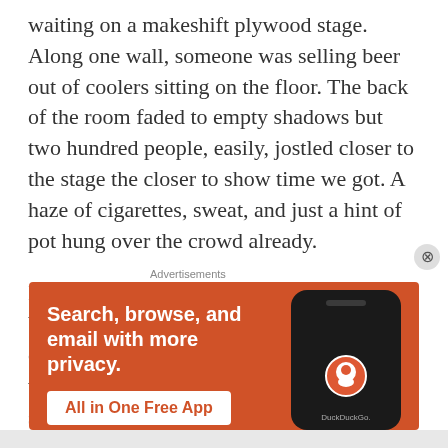waiting on a makeshift plywood stage. Along one wall, someone was selling beer out of coolers sitting on the floor. The back of the room faded to empty shadows but two hundred people, easily, jostled closer to the stage the closer to show time we got. A haze of cigarettes, sweat, and just a hint of pot hung over the crowd already.
I craned my neck, looking for Thel's red bandana over the crowd, while trying to get closer to the stage. There was little progress with either. I ended up shunted off to the side of the room with a door at my back. I
[Figure (screenshot): DuckDuckGo advertisement banner with orange background. Text reads: 'Search, browse, and email with more privacy. All in One Free App' with DuckDuckGo logo and a smartphone graphic.]